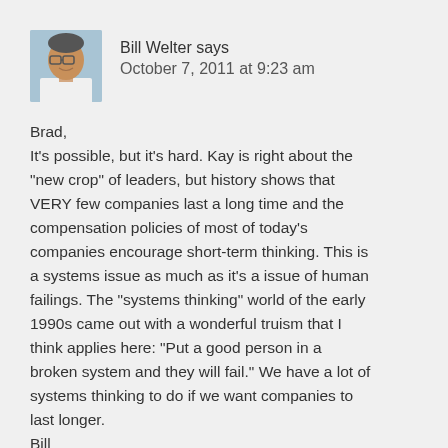[Figure (photo): Avatar photo of Bill Welter, a middle-aged man with glasses, wearing a white shirt, with a light blue background.]
Bill Welter says
October 7, 2011 at 9:23 am
Brad,
It’s possible, but it’s hard. Kay is right about the “new crop” of leaders, but history shows that VERY few companies last a long time and the compensation policies of most of today’s companies encourage short-term thinking. This is a systems issue as much as it’s a issue of human failings. The “systems thinking” world of the early 1990s came out with a wonderful truism that I think applies here: “Put a good person in a broken system and they will fail.” We have a lot of systems thinking to do if we want companies to last longer.
Bill
Reply